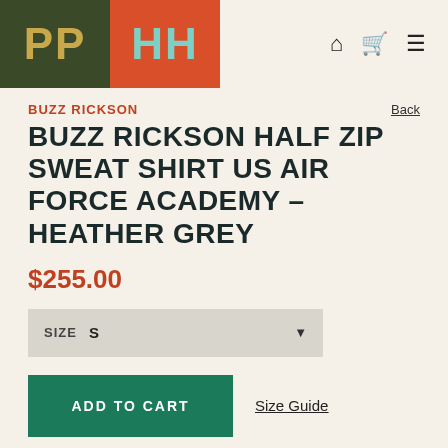PP HH
BUZZ RICKSON
BUZZ RICKSON HALF ZIP SWEAT SHIRT US AIR FORCE ACADEMY – HEATHER GREY
$255.00
SIZE  S
ADD TO CART   Size Guide
If you are looking for multiples, please update in checkout